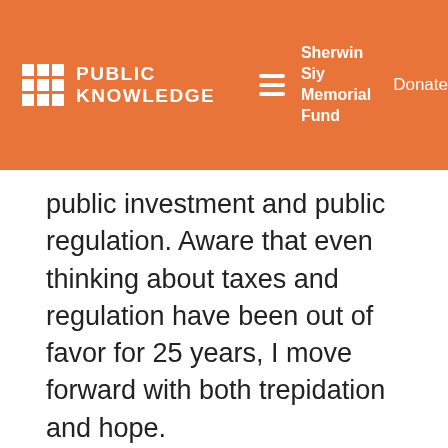PUBLIC KNOWLEDGE | Sherwin Siy Memorial Fund | Donate
public investment and public regulation. Aware that even thinking about taxes and regulation have been out of favor for 25 years, I move forward with both trepidation and hope.
[Figure (infographic): Social media sharing icons: Facebook (blue), Twitter (light blue), Email (gray), LinkedIn (dark blue)]